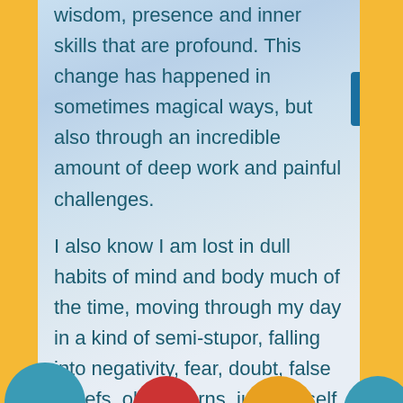wisdom, presence and inner skills that are profound. This change has happened in sometimes magical ways, but also through an incredible amount of deep work and painful challenges.
I also know I am lost in dull habits of mind and body much of the time, moving through my day in a kind of semi-stupor, falling into negativity, fear, doubt, false beliefs, old patterns, judging self and others, triggered and reactive, longing for what I don't have. What passes for meditation fo e is often hole lot of h
[Figure (illustration): Partial view of colored circles at the bottom of the page — teal/blue, red, and yellow/orange circles peeking up from the bottom edge]